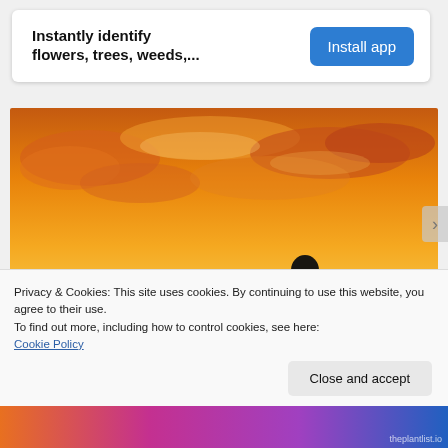[Figure (infographic): App advertisement banner with bold text 'Instantly identify flowers, trees, weeds,...' and a blue 'Install app' button]
[Figure (photo): Silhouette of a person sitting in a field against a dramatic orange and yellow sunset sky with clouds]
Privacy & Cookies: This site uses cookies. By continuing to use this website, you agree to their use.
To find out more, including how to control cookies, see here:
Cookie Policy
Close and accept